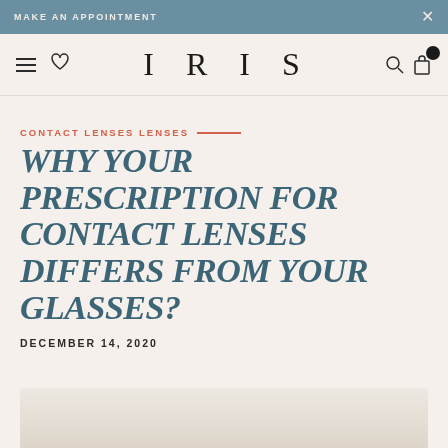MAKE AN APPOINTMENT
[Figure (logo): IRIS brand logo with navigation icons (hamburger menu, heart, search, cart)]
CONTACT LENSES LENSES
WHY YOUR PRESCRIPTION FOR CONTACT LENSES DIFFERS FROM YOUR GLASSES?
DECEMBER 14, 2020
[Figure (photo): Partial preview of an article image with light beige background]